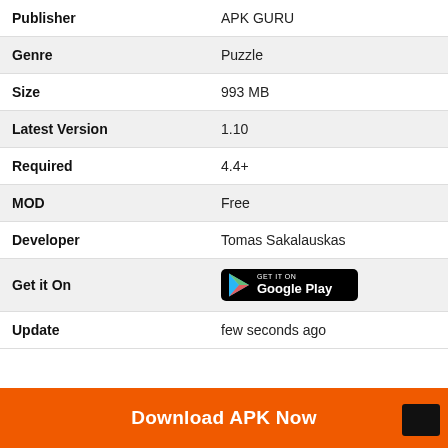| Field | Value |
| --- | --- |
| Publisher | APK GURU |
| Genre | Puzzle |
| Size | 993 MB |
| Latest Version | 1.10 |
| Required | 4.4+ |
| MOD | Free |
| Developer | Tomas Sakalauskas |
| Get it On | [Google Play badge] |
| Update | few seconds ago |
[Figure (logo): Download APK Now orange button at the bottom]
Download APK Now